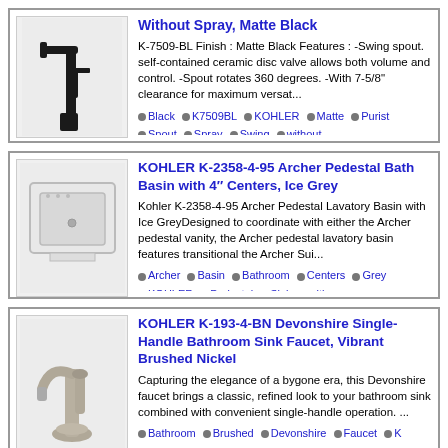[Figure (photo): Matte black kitchen faucet]
Without Spray, Matte Black
K-7509-BL Finish : Matte Black Features : -Swing spout. self-contained ceramic disc valve allows both volume and control. -Spout rotates 360 degrees. -With 7-5/8" clearance for maximum versat...
Black K7509BL KOHLER Matte Purist Spout Spray Swing without
[Figure (photo): White pedestal sink basin]
KOHLER K-2358-4-95 Archer Pedestal Bath Basin with 4" Centers, Ice Grey
Kohler K-2358-4-95 Archer Pedestal Lavatory Basin with Ice GreyDesigned to coordinate with either the Archer pedestal vanity, the Archer pedestal lavatory basin features transitional the Archer Sui...
Archer Basin Bathroom Centers Grey KOHLER Pedestal Sink with
[Figure (photo): Brushed nickel bathroom faucet]
KOHLER K-193-4-BN Devonshire Single-Handle Bathroom Sink Faucet, Vibrant Brushed Nickel
Capturing the elegance of a bygone era, this Devonshire faucet brings a classic, refined look to your bathroom sink combined with convenient single-handle operation. ...
Bathroom Brushed Devonshire Faucet KOHLER Nickel SingleHandle Sink Vibrant